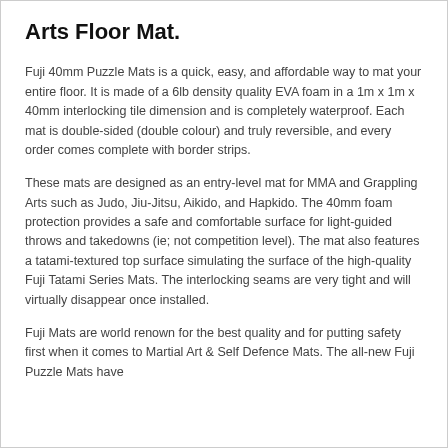Arts Floor Mat.
Fuji 40mm Puzzle Mats is a quick, easy, and affordable way to mat your entire floor. It is made of a 6lb density quality EVA foam in a 1m x 1m x 40mm interlocking tile dimension and is completely waterproof. Each mat is double-sided (double colour) and truly reversible, and every order comes complete with border strips.
These mats are designed as an entry-level mat for MMA and Grappling Arts such as Judo, Jiu-Jitsu, Aikido, and Hapkido. The 40mm foam protection provides a safe and comfortable surface for light-guided throws and takedowns (ie; not competition level). The mat also features a tatami-textured top surface simulating the surface of the high-quality Fuji Tatami Series Mats. The interlocking seams are very tight and will virtually disappear once installed.
Fuji Mats are world renown for the best quality and for putting safety first when it comes to Martial Art & Self Defence Mats. The all-new Fuji Puzzle Mats have